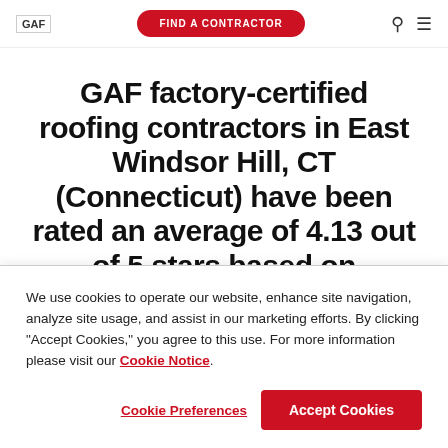GAF | FIND A CONTRACTOR
GAF factory-certified roofing contractors in East Windsor Hill, CT (Connecticut) have been rated an average of 4.13 out of 5 stars based on
We use cookies to operate our website, enhance site navigation, analyze site usage, and assist in our marketing efforts. By clicking "Accept Cookies," you agree to this use. For more information please visit our Cookie Notice.
Cookie Preferences | Accept Cookies